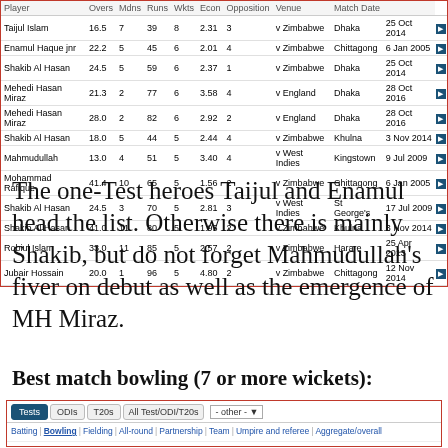| Player | Overs | Mdns | Runs | Wkts | Econ | Opposition | Venue | Match Date |
| --- | --- | --- | --- | --- | --- | --- | --- | --- |
| Taijul Islam | 16.5 | 7 | 39 | 8 | 2.31 | 3 | v Zimbabwe | Dhaka | 25 Oct 2014 |
| Enamul Haque jnr | 22.2 | 5 | 45 | 6 | 2.01 | 4 | v Zimbabwe | Chittagong | 6 Jan 2005 |
| Shakib Al Hasan | 24.5 | 5 | 59 | 6 | 2.37 | 1 | v Zimbabwe | Dhaka | 25 Oct 2014 |
| Mehedi Hasan Miraz | 21.3 | 2 | 77 | 6 | 3.58 | 4 | v England | Dhaka | 28 Oct 2016 |
| Mehedi Hasan Miraz | 28.0 | 2 | 82 | 6 | 2.92 | 2 | v England | Dhaka | 28 Oct 2016 |
| Shakib Al Hasan | 18.0 | 5 | 44 | 5 | 2.44 | 4 | v Zimbabwe | Khulna | 3 Nov 2014 |
| Mahmudullah | 13.0 | 4 | 51 | 5 | 3.40 | 4 | v West Indies | Kingstown | 9 Jul 2009 |
| Mohammad Rafique | 41.4 | 10 | 65 | 5 | 1.56 | 2 | v Zimbabwe | Chittagong | 6 Jan 2005 |
| Shakib Al Hasan | 24.5 | 3 | 70 | 5 | 2.81 | 3 | v West Indies | St George's | 17 Jul 2009 |
| Shakib Al Hasan | 41.0 | 11 | 80 | 5 | 1.95 | 2 | v Zimbabwe | Khulna | 3 Nov 2014 |
| Robiul Islam | 33.0 | 11 | 85 | 5 | 2.57 | 2 | v Zimbabwe | Harare | 25 Apr 2013 |
| Jubair Hossain | 20.0 | 1 | 96 | 5 | 4.80 | 2 | v Zimbabwe | Chittagong | 12 Nov 2014 |
The one-Test heroes Taijul and Enamul head the list. Otherwise there is mainly Shakib, but do not forget Mahmudullah's fiver on debut as well as the emergence of MH Miraz.
Best match bowling (7 or more wickets):
[Figure (screenshot): Cricinfo stats query interface showing Tests/ODIs/T20s tabs with 'other' dropdown, navigation links for Batting/Bowling/Fielding/All-round/Partnership/Team/Umpire and referee/Aggregate/overall, view match by match list, Primary team Bangladesh, Match result won match, Ordered by wickets taken (descending), Page 1 of 2 showing 1-50 of 51, with First/Previous/Next/Last pagination and Return to query menu / Cleared query menu links.]